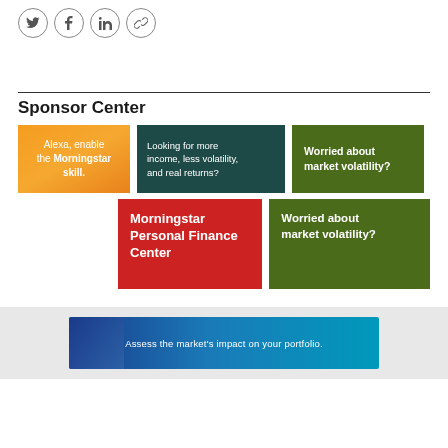[Figure (infographic): Four social media sharing icons in circles: Twitter, Facebook, LinkedIn, and link/chain icon]
Sponsor Center
[Figure (infographic): Orange gradient ad card: 'Alexa, enable the Morningstar skill.']
[Figure (infographic): Teal ad card: 'Looking for more income, less volatility, and real returns?']
[Figure (infographic): Dark green ad card: 'Worried about market volatility?']
[Figure (infographic): Red ad card: 'Morningstar Personal Finance Center']
[Figure (infographic): Green ad card: 'Worried about market volatility?']
[Figure (infographic): Blue banner ad: 'Assess the market's impact on your portfolio.']